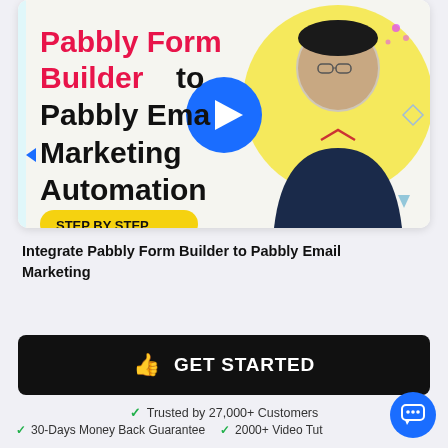[Figure (screenshot): Pabbly Form Builder to Pabbly Email Marketing Automation tutorial thumbnail with red bold heading, black subheading, yellow STEP BY STEP button, play button, and a man in dark polo shirt]
Integrate Pabbly Form Builder to Pabbly Email Marketing
GET STARTED
Trusted by 27,000+ Customers
30-Days Money Back Guarantee
2000+ Video Tut